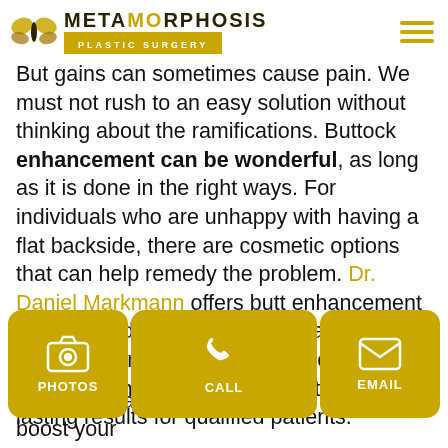Metamorphosis Plastic Surgery
But gains can sometimes cause pain. We must not rush to an easy solution without thinking about the ramifications. Buttock enhancement can be wonderful, as long as it is done in the right ways. For individuals who are unhappy with having a flat backside, there are cosmetic options that can help remedy the problem. Dr. Daniel Markmann offers butt enhancement surgery, and feels that the fat transfer and buttock augmentation approaches are the safest and most effective ways to produce lasting results for qualified patients.
Under Dr. Markmann's expert leadership, Metamorphosis Plastic Surgery can guide your
[Figure (other): Three action buttons: PHOTOS (camera icon), CALL (phone icon), EMAIL (envelope icon) in gold/yellow rounded rectangle buttons]
about the safest, most stunning ways to boost your